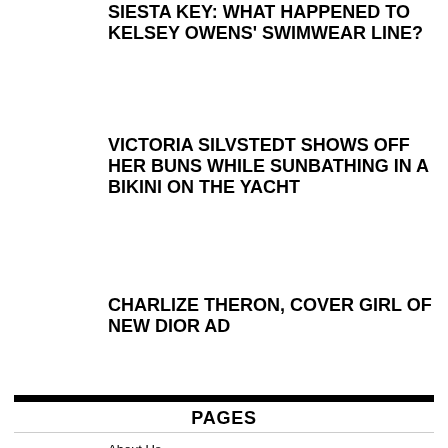SIESTA KEY: WHAT HAPPENED TO KELSEY OWENS' SWIMWEAR LINE?
VICTORIA SILVSTEDT SHOWS OFF HER BUNS WHILE SUNBATHING IN A BIKINI ON THE YACHT
CHARLIZE THERON, COVER GIRL OF NEW DIOR AD
PAGES
About Us
Advertising and Collaboration